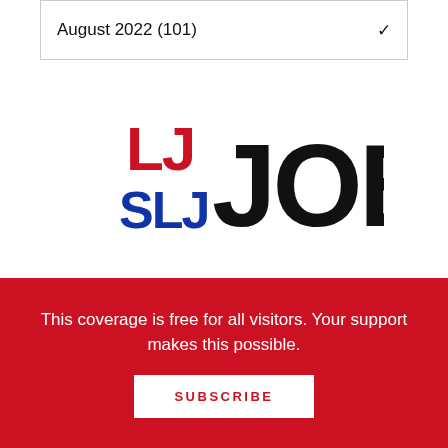August 2022  (101)
[Figure (logo): LJ SLJ JOB ZONE logo with red LJ, blue SLJ, and black JOB ZONE text]
FEATURED JOBS
Cataloging Specialist
Midwest Tape
08.22.22  |  Holland
This coverage is free for all visitors. Your support makes this possible.
SUBSCRIBE